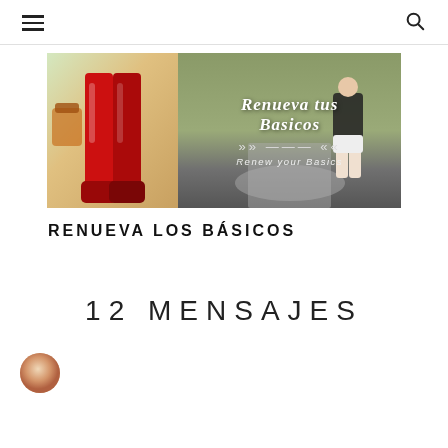☰ [menu icon] | 🔍 [search icon]
[Figure (photo): Two-part banner image. Left side: person wearing bright red tall boots/leggings with colorful background. Right side: outdoor photo with a person in dark top and white shorts, overlaid with text 'Renueva tus Basicos' and 'Renew your Basics' with decorative arrow elements.]
RENUEVA LOS BÁSICOS
12 MENSAJES
[Figure (photo): Small circular avatar/profile photo at the bottom left, partially visible.]